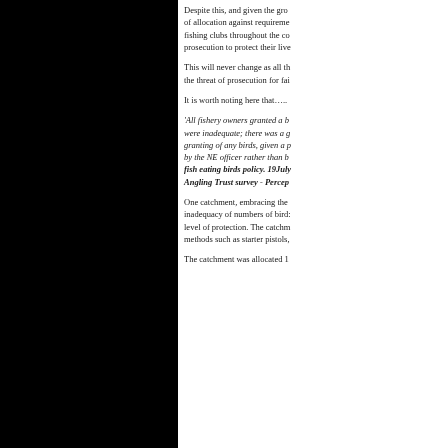Despite this, and given the growing weight of allocation against requirements, many fishing clubs throughout the country face prosecution to protect their livelihoods.
This will never change as all the faces the threat of prosecution for failure...
It is worth noting here that…..
'All fishery owners granted a licence were inadequate; there was a granting of any birds, given a p by the NE officer rather than b fish eating birds policy. 19July Angling Trust survey - Percep
One catchment, embracing the inadequacy of numbers of birds level of protection. The catchm methods such as starter pistols,
The catchment was allocated 1